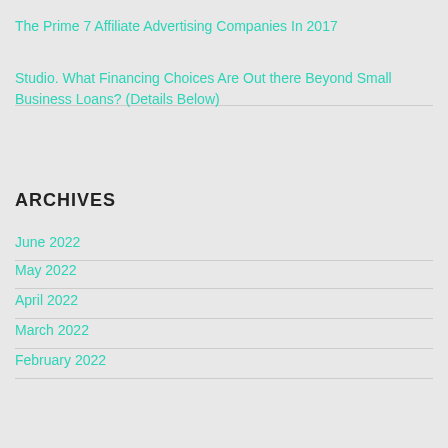The Prime 7 Affiliate Advertising Companies In 2017
Studio. What Financing Choices Are Out there Beyond Small Business Loans? (Details Below)
ARCHIVES
June 2022
May 2022
April 2022
March 2022
February 2022